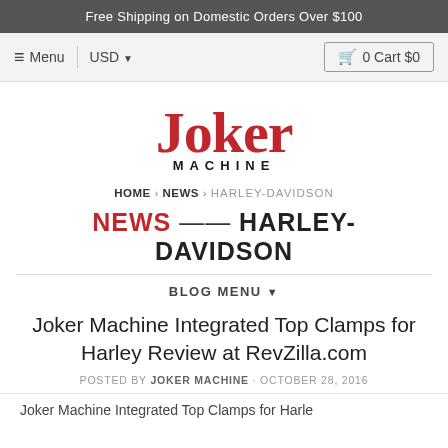Free Shipping on Domestic Orders Over $100
≡ Menu  USD ▼   🛒 0 Cart $0
[Figure (logo): Joker Machine logo in stylized red gothic lettering with 'MACHINE' in black below]
HOME › NEWS › HARLEY-DAVIDSON
NEWS — HARLEY-DAVIDSON
BLOG MENU ▼
Joker Machine Integrated Top Clamps for Harley Review at RevZilla.com
POSTED BY JOKER MACHINE · OCTOBER 28, 2016
Joker Machine Integrated Top Clamps for Harley